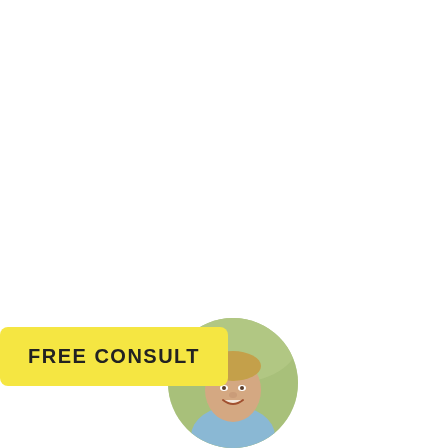[Figure (photo): Circular portrait photo of Richard Vaughn, a smiling man in a light blue shirt with green foliage in the background.]
RICHARD VAUGHN
Attorney Rich Vaughn is founder and principal of International Fertility Law of the world's largest and best-known law firms focused
[Figure (other): Round grey scroll-to-top button with an upward arrow icon.]
FREE CONSULT